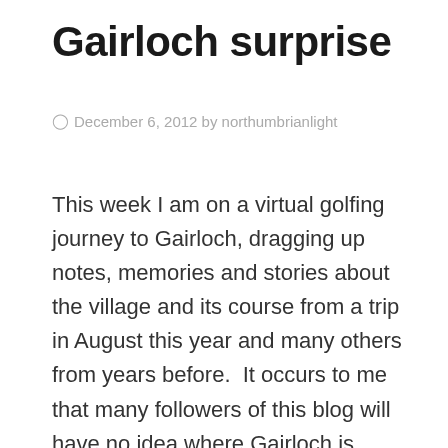Gairloch surprise
December 6, 2012 by northumbrianlight
This week I am on a virtual golfing journey to Gairloch, dragging up notes, memories and stories about the village and its course from a trip in August this year and many others from years before.  It occurs to me that many followers of this blog will have no idea where Gairloch is located.  I recommend keying the postcode IV21 2BE into Google Earth, popping down into Street View and taking a look at ground level – this beautifully positioned course is clearly visible from the A832; the best